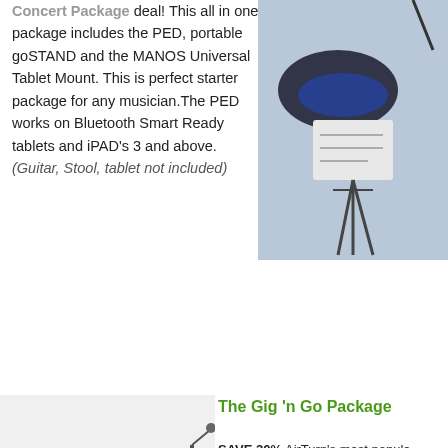Concert Package deal! This all in one package includes the PED, portable goSTAND and the MANOS Universal Tablet Mount. This is perfect starter package for any musician.The PED works on Bluetooth Smart Ready tablets and iPAD's 3 and above. (Guitar, Stool, tablet not included)
[Figure (photo): Photo of a blue shoe and a document on a music stand or tripod]
[Figure (photo): Photo of a guitar on a stand with a red sneaker, amp, and tablet mount accessories]
The Gig 'n Go Package
SAVE 20% AirTurn's most popular of our bestselling solutions for all 'n Go combines the DUO, portab boom, and the MANOS mount wi will work with any Bluetooth Table Stool, tablet not included)
Looking for New Content? Kyle Hollingsworth from
Want Y be Fe